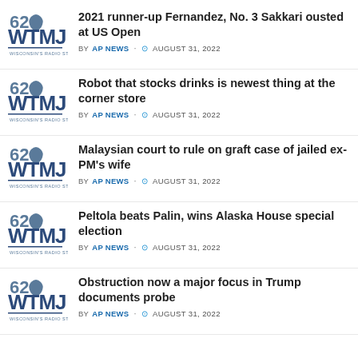2021 runner-up Fernandez, No. 3 Sakkari ousted at US Open — BY AP NEWS · AUGUST 31, 2022
Robot that stocks drinks is newest thing at the corner store — BY AP NEWS · AUGUST 31, 2022
Malaysian court to rule on graft case of jailed ex-PM's wife — BY AP NEWS · AUGUST 31, 2022
Peltola beats Palin, wins Alaska House special election — BY AP NEWS · AUGUST 31, 2022
Obstruction now a major focus in Trump documents probe — BY AP NEWS · AUGUST 31, 2022